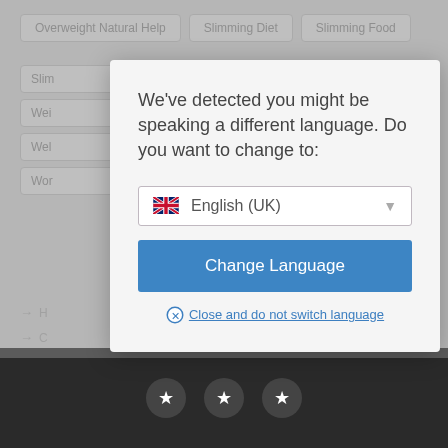[Figure (screenshot): Background website content with navigation tabs (Overweight Natural Help, Slimming Diet, Slimming Food) and partial left-side menu items, overlaid with a modal dialog]
We've detected you might be speaking a different language. Do you want to change to:
[Figure (other): Language selector dropdown showing UK flag and English (UK) with dropdown arrow]
Change Language
Close and do not switch language